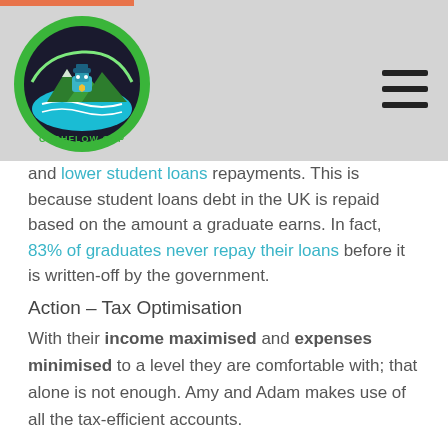[Figure (logo): Cashflow Cop logo — circular badge with mountains, water waves, and a figure, with text CASHFLOW COP at the bottom]
and lower student loans repayments. This is because student loans debt in the UK is repaid based on the amount a graduate earns. In fact, 83% of graduates never repay their loans before it is written-off by the government.
Action – Tax Optimisation
With their income maximised and expenses minimised to a level they are comfortable with; that alone is not enough. Amy and Adam makes use of all the tax-efficient accounts.
For Amy, they are accounts such as ROTH IRA and 401(k).